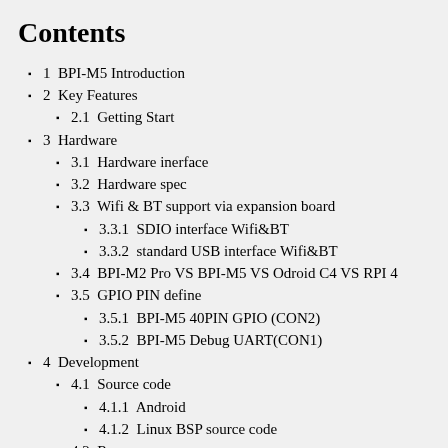Contents
1  BPI-M5 Introduction
2  Key Features
2.1  Getting Start
3  Hardware
3.1  Hardware inerface
3.2  Hardware spec
3.3  Wifi & BT support via expansion board
3.3.1  SDIO interface Wifi&BT
3.3.2  standard USB interface Wifi&BT
3.4  BPI-M2 Pro VS BPI-M5 VS Odroid C4 VS RPI 4
3.5  GPIO PIN define
3.5.1  BPI-M5 40PIN GPIO (CON2)
3.5.2  BPI-M5 Debug UART(CON1)
4  Development
4.1  Source code
4.1.1  Android
4.1.2  Linux BSP source code
4.2  Resources
5  System image
5.1  Android
5.2  Linux
5.2.1  Ubuntu